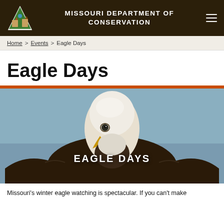MISSOURI DEPARTMENT OF CONSERVATION
Home > Events > Eagle Days
Eagle Days
[Figure (photo): Close-up photograph of a bald eagle against a blue sky background, with text overlay reading 'EAGLE DAYS']
Missouri's winter eagle watching is spectacular. If you can't make